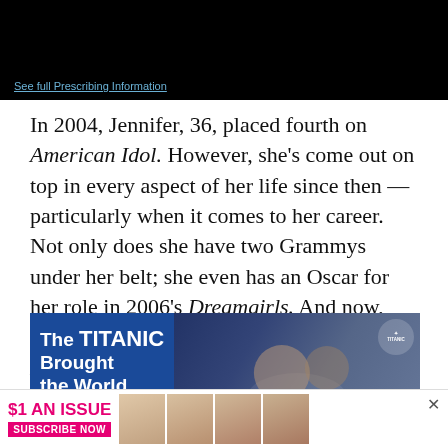[Figure (screenshot): Black banner with link text 'See full Prescribing Information' in blue]
In 2004, Jennifer, 36, placed fourth on American Idol. However, she's come out on top in every aspect of her life since then — particularly when it comes to her career. Not only does she have two Grammys under her belt; she even has an Oscar for her role in 2006's Dreamgirls. And now, she's got the funds. According to Celebrity Net Worth, J-Hud is worth $20 million.
[Figure (photo): Advertisement image with blue background showing text 'The TITANIC Brought the World Together.' with a photo of a woman and child and a Titanic logo]
[Figure (screenshot): Bottom banner advertisement: '$1 AN ISSUE SUBSCRIBE NOW' with magazine cover photos]